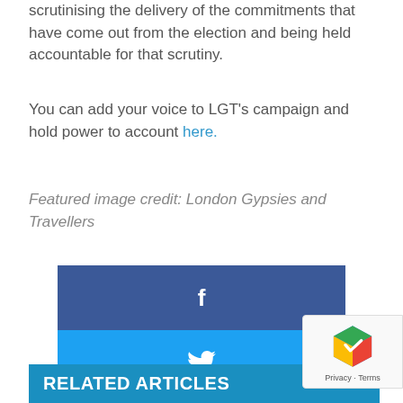scrutinising the delivery of the commitments that have come out from the election and being held accountable for that scrutiny.
You can add your voice to LGT’s campaign and hold power to account here.
Featured image credit: London Gypsies and Travellers
[Figure (infographic): Social media share buttons: Facebook (dark blue), Twitter (light blue), Reddit (orange-red), LinkedIn (dark blue)]
RELATED ARTICLES